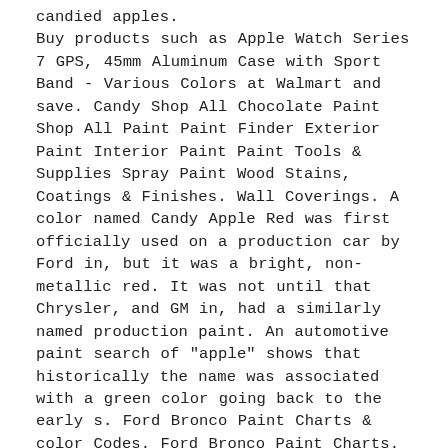candied apples. Buy products such as Apple Watch Series 7 GPS, 45mm Aluminum Case with Sport Band - Various Colors at Walmart and save. Candy Shop All Chocolate Paint Shop All Paint Paint Finder Exterior Paint Interior Paint Paint Tools & Supplies Spray Paint Wood Stains, Coatings & Finishes. Wall Coverings. A color named Candy Apple Red was first officially used on a production car by Ford in, but it was a bright, non-metallic red. It was not until that Chrysler, and GM in, had a similarly named production paint. An automotive paint search of "apple" shows that historically the name was associated with a green color going back to the early s. Ford Bronco Paint Charts & color Codes. Ford Bronco Paint Charts. 2 Ford Bronco. Velocity Blue. Code E7. Ford Bronco. Rapid Red. Code D4. Ford Bronco. Carbonized Gray. Candy Apple Red 4. Maroon Met 5. Coral 6. Silver Metallic 7. Dark Blue Metallic 8. Light